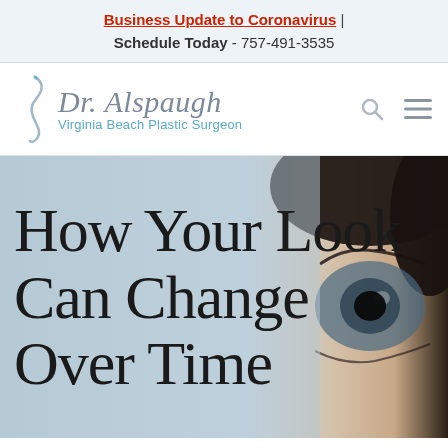Business Update to Coronavirus | Schedule Today - 757-491-3535
[Figure (logo): Dr. Alspaugh Virginia Beach Plastic Surgeon logo with stylized body silhouette icon]
How Your Look Can Change Over Time
[Figure (photo): Close-up photo of a human eye with long eyelashes, used as hero background image]